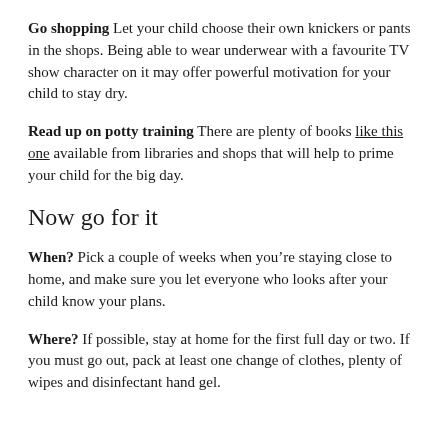Go shopping Let your child choose their own knickers or pants in the shops. Being able to wear underwear with a favourite TV show character on it may offer powerful motivation for your child to stay dry.
Read up on potty training There are plenty of books like this one available from libraries and shops that will help to prime your child for the big day.
Now go for it
When? Pick a couple of weeks when you’re staying close to home, and make sure you let everyone who looks after your child know your plans.
Where? If possible, stay at home for the first full day or two. If you must go out, pack at least one change of clothes, plenty of wipes and disinfectant hand gel.